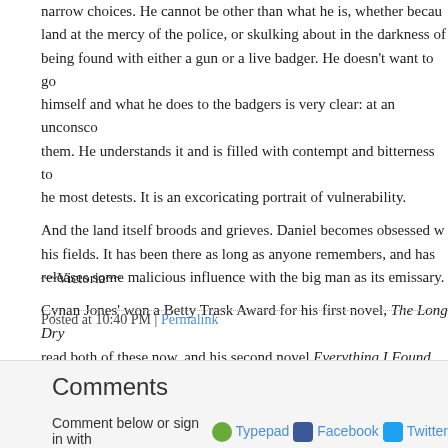narrow choices.  He cannot be other than what he is, whether because land at the mercy of the police, or skulking about in the darkness of being found with either a gun or a live badger.  He doesn't want to go himself and what he does to the badgers is very clear: at an unconscio them.  He understands it and is filled with contempt and bitterness to he most detests.  It is an excoricating portrait of vulnerability.
And the land itself broods and grieves.  Daniel becomes obsessed w his fields.  It has been there as long as anyone remembers, and has releases some malicious influence with the big man as its emissary.
Cynan Jones' won a Betty Trask Award for his first novel, The Long Dry read both of these now, and his second novel Everything I Found on t
~~Victoria~~
Posted at 10:40 PM | Permalink
Comments
Comment below or sign in with Typepad Facebook Twitter